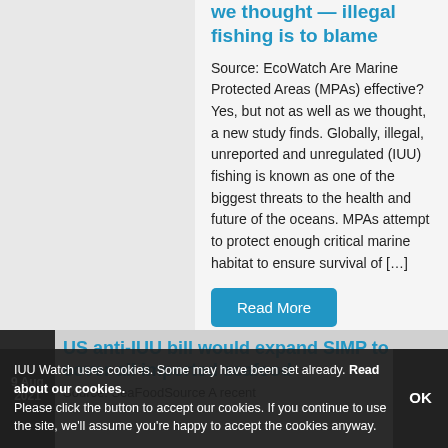we thought — illegal fishing is to blame
Source: EcoWatch Are Marine Protected Areas (MPAs) effective? Yes, but not as well as we thought, a new study finds. Globally, illegal, unreported and unregulated (IUU) fishing is known as one of the biggest threats to the health and future of the oceans. MPAs attempt to protect enough critical marine habitat to ensure survival of […]
Read More
9 Aug 2021
US anti-IUU bill would expand SIMP to cover all imported seafood
Source: SeaFoodSource A recent
IUU Watch uses cookies. Some may have been set already. Read about our cookies. Please click the button to accept our cookies. If you continue to use the site, we'll assume you're happy to accept the cookies anyway.